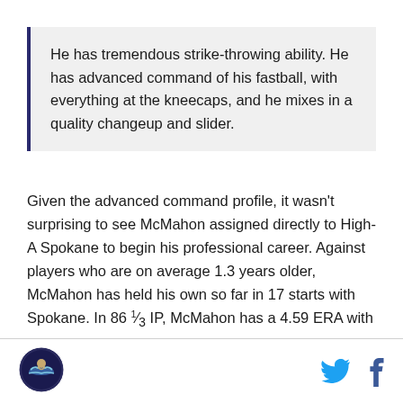He has tremendous strike-throwing ability. He has advanced command of his fastball, with everything at the kneecaps, and he mixes in a quality changeup and slider.
Given the advanced command profile, it wasn't surprising to see McMahon assigned directly to High-A Spokane to begin his professional career. Against players who are on average 1.3 years older, McMahon has held his own so far in 17 starts with Spokane. In 86 1/3 IP, McMahon has a 4.59 ERA with a 1.39 WHIP and 9.1 K/9 rate against a 2.7 BB/9 rate. That includes a notable home/road split — he's got a 6.48 ERA in
[Figure (logo): Circular sports team logo with swimmer/fish imagery]